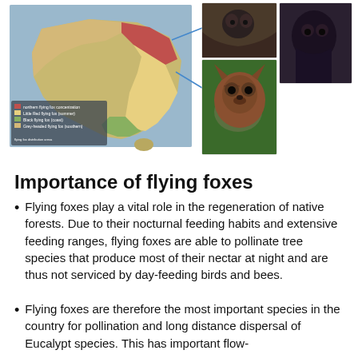[Figure (infographic): Map of Australia showing flying fox distribution zones in different colors (red, yellow, green, tan), with arrows pointing to three photos of flying foxes/bats on the right side.]
Importance of flying foxes
Flying foxes play a vital role in the regeneration of native forests. Due to their nocturnal feeding habits and extensive feeding ranges, flying foxes are able to pollinate tree species that produce most of their nectar at night and are thus not serviced by day-feeding birds and bees.
Flying foxes are therefore the most important species in the country for pollination and long distance dispersal of Eucalypt species. This has important flow-